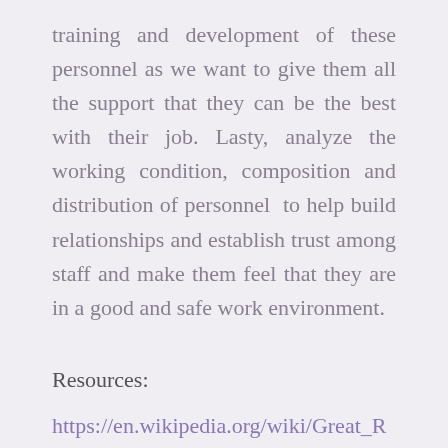training and development of these personnel as we want to give them all the support that they can be the best with their job. Lasty, analyze the working condition, composition and distribution of personnel  to help build relationships and establish trust among staff and make them feel that they are in a good and safe work environment.
Resources:
https://en.wikipedia.org/wiki/Great_Resignation
https://www.healthcaredive.com/news/mckinsey-nurses-consider-quitting-leaving-pandemic-